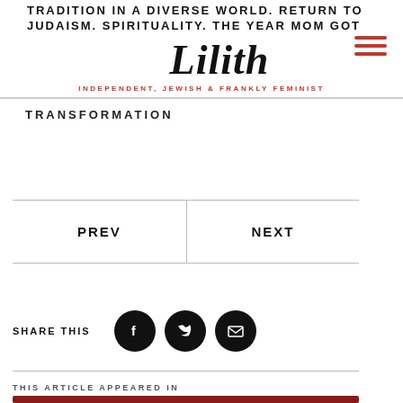TRADITION IN A DIVERSE WORLD. RETURN TO JUDAISM. SPIRITUALITY. THE YEAR MOM GOT
Lilith
INDEPENDENT, JEWISH & FRANKLY FEMINIST
TRANSFORMATION
PREV
NEXT
SHARE THIS
THIS ARTICLE APPEARED IN